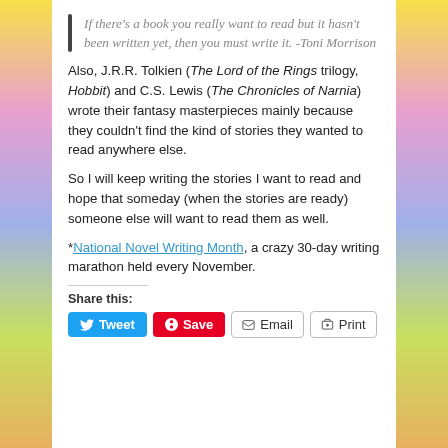If there's a book you really want to read but it hasn't been written yet, then you must write it. -Toni Morrison
Also, J.R.R. Tolkien (The Lord of the Rings trilogy, Hobbit) and C.S. Lewis (The Chronicles of Narnia) wrote their fantasy masterpieces mainly because they couldn't find the kind of stories they wanted to read anywhere else.
So I will keep writing the stories I want to read and hope that someday (when the stories are ready) someone else will want to read them as well.
*National Novel Writing Month, a crazy 30-day writing marathon held every November.
Share this:
Tweet  Save  Email  Print